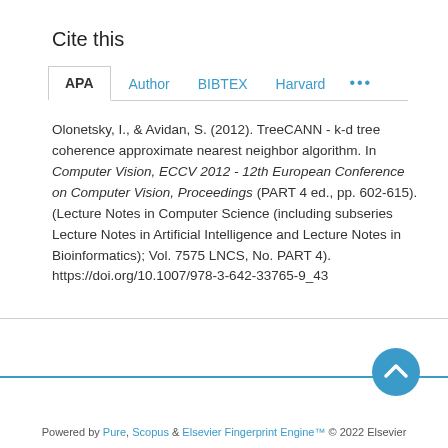Cite this
APA | Author | BIBTEX | Harvard | ...
Olonetsky, I., & Avidan, S. (2012). TreeCANN - k-d tree coherence approximate nearest neighbor algorithm. In Computer Vision, ECCV 2012 - 12th European Conference on Computer Vision, Proceedings (PART 4 ed., pp. 602-615). (Lecture Notes in Computer Science (including subseries Lecture Notes in Artificial Intelligence and Lecture Notes in Bioinformatics); Vol. 7575 LNCS, No. PART 4). https://doi.org/10.1007/978-3-642-33765-9_43
Powered by Pure, Scopus & Elsevier Fingerprint Engine™ © 2022 Elsevier